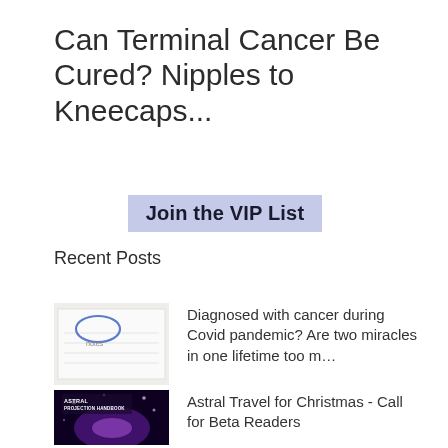Can Terminal Cancer Be Cured? Nipples to Kneecaps...
Join the VIP List
Recent Posts
[Figure (photo): Thumbnail image showing a handwritten note with a blue oval doodle and text, on white paper.]
Diagnosed with cancer during Covid pandemic? Are two miracles in one lifetime too m…
[Figure (photo): Book cover for 'Astral Projection Handbook' showing space/cosmic imagery with purple and blue tones.]
Astral Travel for Christmas - Call for Beta Readers